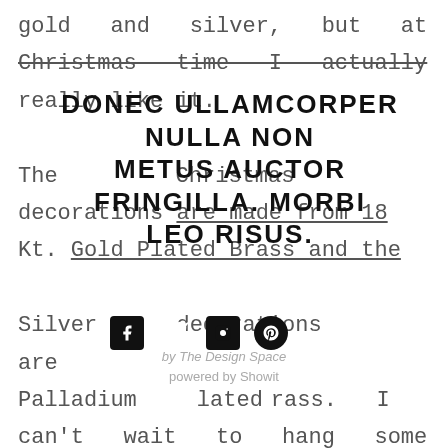gold  and  silver,  but  at Christmas  time  I  actually really like it. The Gold Christmas decorations are made from 18 Kt. Gold Plated Brass and the Silver  decorations  are Palladium  Plated  Brass.  I can't  wait  to  hang  some  on our  Christmas  tree,  I'm  sure the  decorations  will  reflect
DONEC ULLAMCORPER NULLA NON METUS AUCTOR FRINGILLA. MORBI LEO RISUS.
[Figure (other): Social media icons: Facebook, Twitter, Instagram, Pinterest]
by The Design Space
powered by Showit